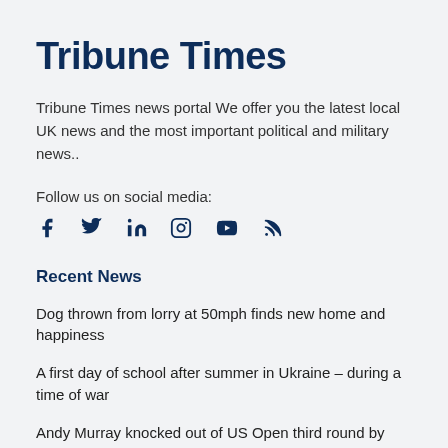Tribune Times
Tribune Times news portal We offer you the latest local UK news and the most important political and military news..
Follow us on social media:
[Figure (infographic): Social media icons: Facebook, Twitter, LinkedIn, Instagram, YouTube, RSS]
Recent News
Dog thrown from lorry at 50mph finds new home and happiness
A first day of school after summer in Ukraine – during a time of war
Andy Murray knocked out of US Open third round by Italy's Matteo Berrettini